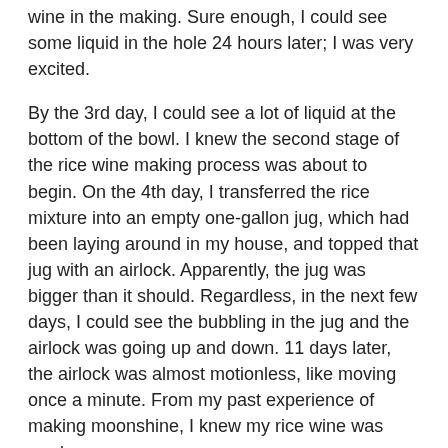wine in the making.  Sure enough, I could see some liquid in the hole 24 hours later; I was very excited.
By the 3rd day, I could see a lot of liquid at the bottom of the bowl.  I knew the second stage of the rice wine making process was about to begin.  On the 4th day, I transferred the rice mixture into an empty one-gallon jug, which had been laying around in my house, and topped that jug with an airlock.  Apparently, the jug was bigger than it should.  Regardless, in the next few days, I could see the bubbling in the jug and the airlock was going up and down.  11 days later, the airlock was almost motionless, like moving once a minute.  From my past experience of making moonshine, I knew my rice wine was ready.
I filtered out the fermented rice, stored it in a mason jar and stored the jar in the fridge.  I'll use the fermented rice to make the Egg Drop Soup again in the future.  I then poured the rice wine into two different mason jars.  After that, I steamed the mason jars for about 20 minutes.  Viola, my first home-made sweet rice wine.
Last but not least, one last reminder: during the rice wine